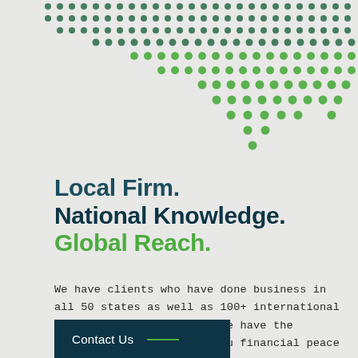[Figure (illustration): Decorative dot pattern in dark green and lighter green arranged in an arc/wave pattern across the top of the page, tapering from dense at top-left to sparse at bottom-center and right.]
Local Firm.
National Knowledge.
Global Reach.
We have clients who have done business in all 50 states as well as 100+ international clients. Coast to coast, we have the experience to help give you financial peace of mind.
Contact Us —